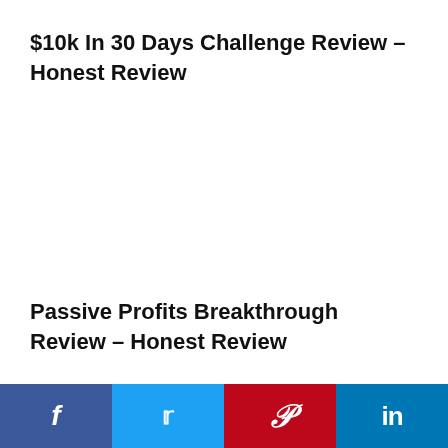$10k In 30 Days Challenge Review – Honest Review
Passive Profits Breakthrough Review – Honest Review
[Figure (infographic): Social share bar with four buttons: Facebook (dark blue), Twitter (light blue), Pinterest (red), LinkedIn (medium blue), each with respective icon.]